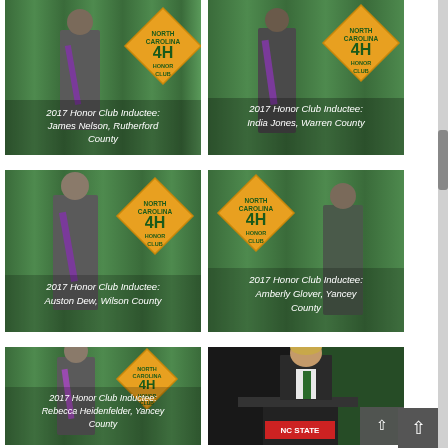[Figure (photo): 2017 Honor Club Inductee James Nelson, Rutherford County. Young man standing in front of North Carolina 4-H Honor Club banner with green curtain backdrop.]
2017 Honor Club Inductee: James Nelson, Rutherford County
[Figure (photo): 2017 Honor Club Inductee India Jones, Warren County. Person standing in front of North Carolina 4-H Honor Club banner with green curtain backdrop.]
2017 Honor Club Inductee: India Jones, Warren County
[Figure (photo): 2017 Honor Club Inductee Auston Dew, Wilson County. Young man standing in front of North Carolina 4-H Honor Club banner with green curtain backdrop.]
2017 Honor Club Inductee: Auston Dew, Wilson County
[Figure (photo): 2017 Honor Club Inductee Amberly Glover, Yancey County. Person standing in front of North Carolina 4-H Honor Club banner with green curtain backdrop.]
2017 Honor Club Inductee: Amberly Glover, Yancey County
[Figure (photo): 2017 Honor Club Inductee Rebecca Heidenfelder, Yancey County. Person standing in front of North Carolina 4-H Honor Club banner with green curtain backdrop.]
2017 Honor Club Inductee: Rebecca Heidenfelder, Yancey County
[Figure (photo): Man in suit with green tie speaking at a podium with NC State sign visible at the bottom. Dark background.]